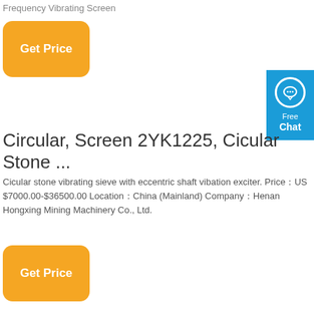Frequency Vibrating Screen
Get Price
Circular, Screen 2YK1225, Cicular Stone ...
Cicular stone vibrating sieve with eccentric shaft vibation exciter. Price：US $7000.00-$36500.00 Location：China (Mainland) Company：Henan Hongxing Mining Machinery Co., Ltd.
Get Price